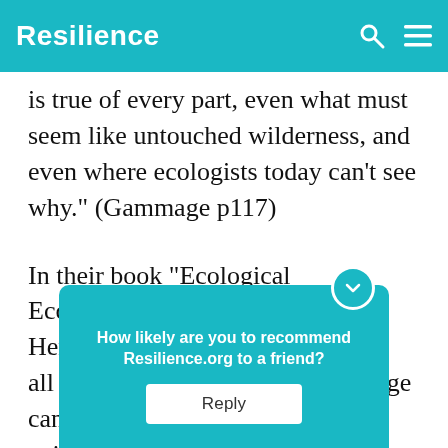Resilience
is true of every part, even what must seem like untouched wilderness, and even where ecologists today can’t see why.” (Gammage p117)
In their book “Ecological Economics” Joshua Farley and Herman Daly point out that we are all born ignorant and that knowledge can be lost over time as well as gained … in the prece… as
How likely are you to recommend Resilience.org to a friend?